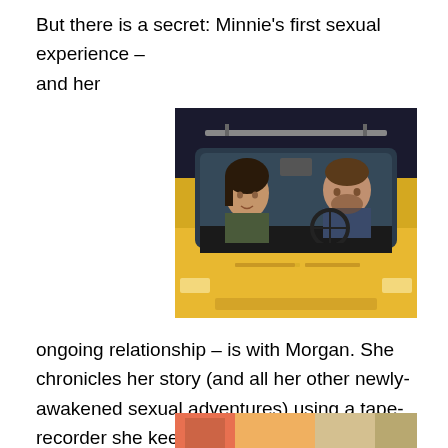But there is a secret: Minnie's first sexual experience – and her
[Figure (photo): Two people sitting in the front seat of a yellow car, viewed through the windshield at night. A young woman on the left and a man on the right.]
ongoing relationship – is with Morgan. She chronicles her story (and all her other newly-awakened sexual adventures) using a tape-recorder she keeps hidden in her closet. She also hones her comic book skills with explicit, black and white drawings, modeled on the work of underground comic artist Aline
[Figure (photo): Partial view of a second photo, partially cut off at the bottom of the page.]